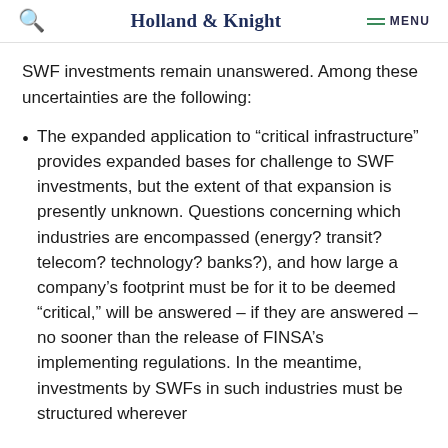Holland & Knight  MENU
SWF investments remain unanswered. Among these uncertainties are the following:
The expanded application to “critical infrastructure” provides expanded bases for challenge to SWF investments, but the extent of that expansion is presently unknown. Questions concerning which industries are encompassed (energy? transit? telecom? technology? banks?), and how large a company’s footprint must be for it to be deemed “critical,” will be answered – if they are answered – no sooner than the release of FINSA’s implementing regulations. In the meantime, investments by SWFs in such industries must be structured wherever